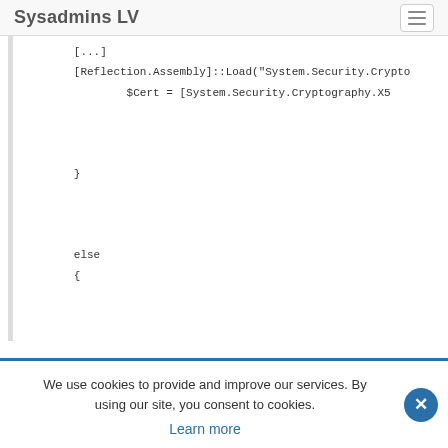Sysadmins LV
[Reflection.Assembly]::Load("System.Security.Crypto
$Cert = [System.Security.Cryptography.X5
}
else
{
$Cert.PrivateKey = $rsa
We use cookies to provide and improve our services. By using our site, you consent to cookies.
Learn more